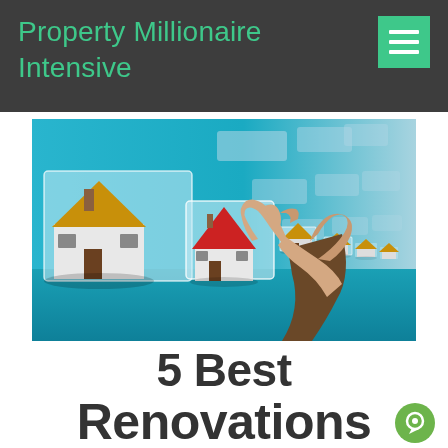Property Millionaire Intensive
[Figure (photo): A hand pointing at a row of house icons displayed on transparent screens, arranged in perspective, against a blue background. Large golden-roofed house on the left, then a highlighted house with red roof being touched, followed by smaller houses receding into the distance.]
5 Best Renovations